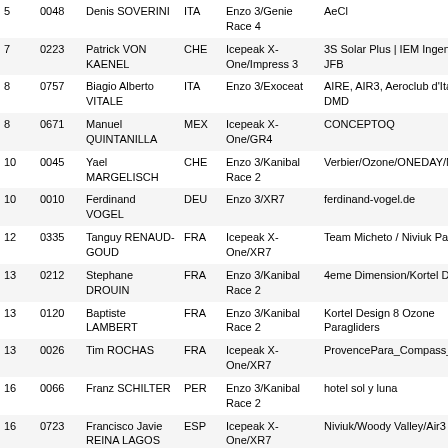| Rank | No. | Name | Nat | Glider/Instrument | Sponsors |
| --- | --- | --- | --- | --- | --- |
| 5 | 0048 | Denis SOVERINI | ITA | Enzo 3/Genie Race 4 | AeCl |
| 7 | 0223 | Patrick VON KAENEL | CHE | Icepeak X-One/Impress 3 | 3S Solar Plus | IEM Ingenieur | JFB |
| 8 | 0757 | Biagio Alberto VITALE | ITA | Enzo 3/Exoceat | AIRE, AIR3, Aeroclub d'Italia, DMD |
| 8 | 0671 | Manuel QUINTANILLA | MEX | Icepeak X-One/GR4 | CONCEPTOQ |
| 10 | 0045 | Yael MARGELISCH | CHE | Enzo 3/Kanibal Race 2 | Verbier/Ozone/ONEDAY/Naviter |
| 10 | 0010 | Ferdinand VOGEL | DEU | Enzo 3/XR7 | ferdinand-vogel.de |
| 12 | 0335 | Tanguy RENAUD-GOUD | FRA | Icepeak X-One/XR7 | Team Micheto / Niviuk Paraglider |
| 13 | 0212 | Stephane DROUIN | FRA | Enzo 3/Kanibal Race 2 | 4eme Dimension/Kortel Design |
| 13 | 0120 | Baptiste LAMBERT | FRA | Enzo 3/Kanibal Race 2 | Kortel Design 8 Ozone Paragliders |
| 13 | 0026 | Tim ROCHAS | FRA | Icepeak X-One/XR7 | ProvencePara_Compass_Praloup_ |
| 16 | 0066 | Franz SCHILTER | PER | Enzo 3/Kanibal Race 2 | hotel sol y luna |
| 16 | 0723 | Francisco Javie REINA LAGOS | ESP | Icepeak X-One/XR7 | Niviuk/Woody Valley/Air3 |
| 18 | 0309 | Gilberto RAPOSO | BRA | Enzo 3/Kanibal Race 2 |  |
| 18 | 0325 | Cody MITTANCK | USA | Enzo 3/XR7 | Ozone Gliders |
| 18 | 0039 | Charles CAZAUX | FRA | Enzo 3/Submarine | Orange I Morzine I Ozone I Naviter |
| 21 | 0225 | Denis ROGOLSHA | RUS | Enzo 3/XR7 |  |